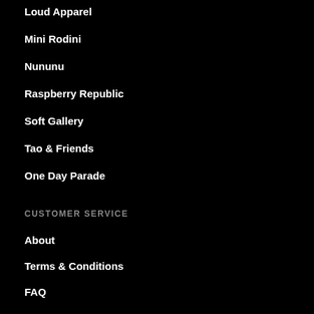Loud Apparel
Mini Rodini
Nununu
Raspberry Republic
Soft Gallery
Tao & Friends
One Day Parade
CUSTOMER SERVICE
About
Terms & Conditions
FAQ
Privacy Policy